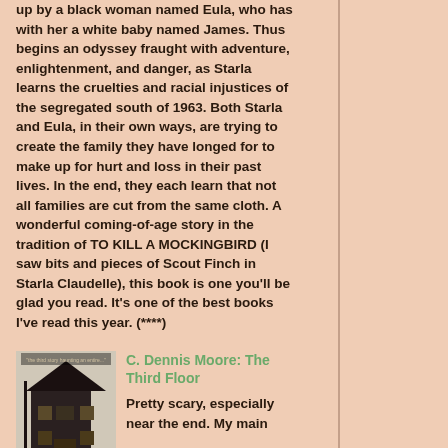up by a black woman named Eula, who has with her a white baby named James. Thus begins an odyssey fraught with adventure, enlightenment, and danger, as Starla learns the cruelties and racial injustices of the segregated south of 1963. Both Starla and Eula, in their own ways, are trying to create the family they have longed for to make up for hurt and loss in their past lives. In the end, they each learn that not all families are cut from the same cloth. A wonderful coming-of-age story in the tradition of TO KILL A MOCKINGBIRD (I saw bits and pieces of Scout Finch in Starla Claudelle), this book is one you'll be glad you read. It's one of the best books I've read this year. (****)
C. Dennis Moore: The Third Floor
Pretty scary, especially near the end. My main